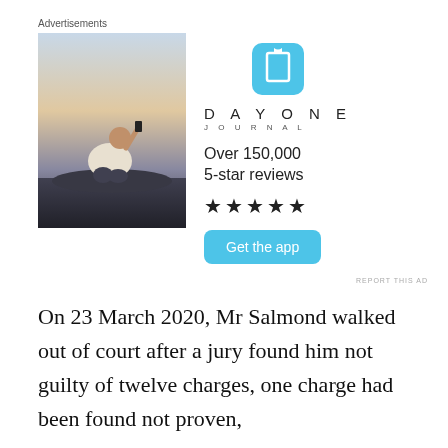Advertisements
[Figure (photo): Day One Journal advertisement. Left side: photo of a person sitting on rocks photographing a sunset. Right side: Day One Journal app icon (blue bookmark icon), text 'DAY ONE JOURNAL', 'Over 150,000 5-star reviews', five black star rating, and a blue 'Get the app' button. Small 'REPORT THIS AD' link at the bottom right.]
On 23 March 2020, Mr Salmond walked out of court after a jury found him not guilty of twelve charges, one charge had been found not proven,